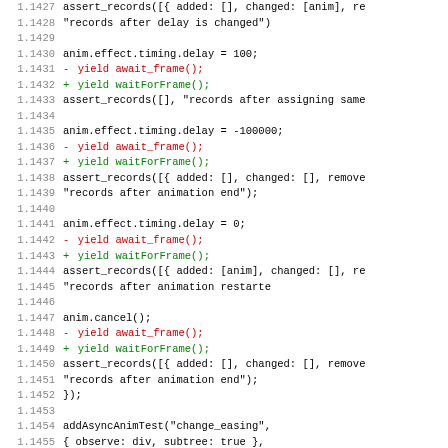Code diff showing animation test changes, lines 1.1427–1.1458